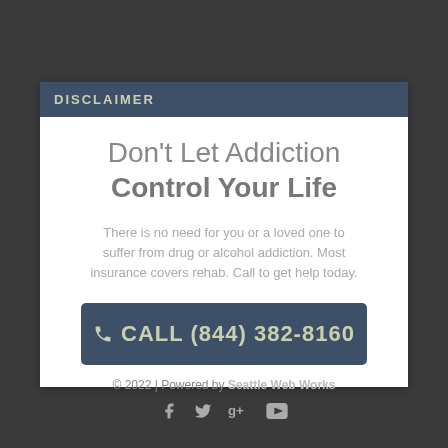DISCLAIMER
Don't Let Addiction Control Your Life
There is no need for you or a loved one to suffer from drug or alcohol addiction. Most insurance covers rehab. Call to get help today.
CALL (844) 382-8160
© 2022 | Powered by Seattle Web Works